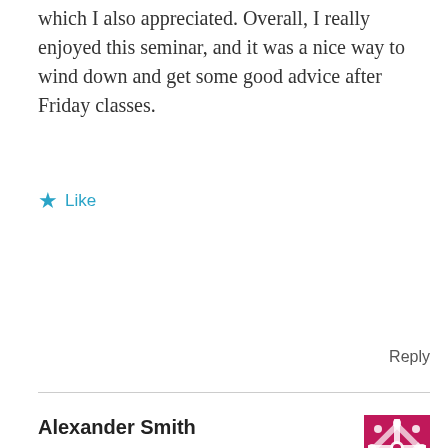which I also appreciated. Overall, I really enjoyed this seminar, and it was a nice way to wind down and get some good advice after Friday classes.
★ Like
Reply
Alexander Smith
January 1, 2014 at 3:09 PM
👍 0 👎 0 ℹ Rate This
As I reflect on the previous semester, I would like to comment on how useful this seminar was for a graduate student like myself. The panel allowed their own personalities to come through when responding to